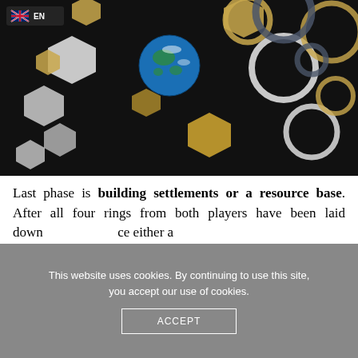[Figure (photo): Dark background with white, gold/tan hexagons and rings/circles of various sizes scattered across. A blue Earth globe image is visible near the center. A language badge showing a UK flag and 'EN' is in the top-left corner.]
Last phase is building settlements or a resource base. After all four rings from both players have been laid down ce either a
This website uses cookies. By continuing to use this site, you accept our use of cookies.
ACCEPT